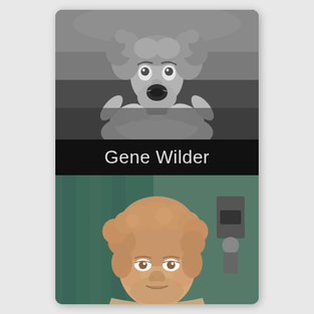[Figure (photo): Black and white photograph of Gene Wilder looking upward with mouth open and wild curly hair, wearing a ruffled collar costume]
Gene Wilder
[Figure (photo): Color photograph of Gene Wilder with curly sandy hair, wearing a suit and tie, smiling slightly]